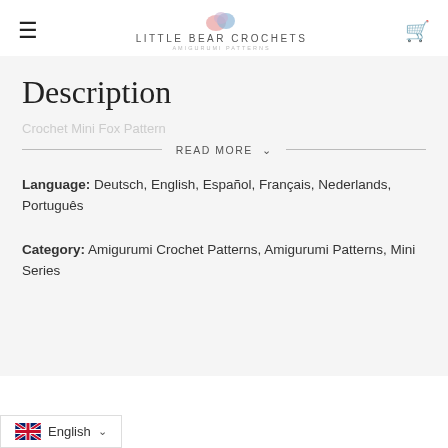LITTLE BEAR CROCHETS AMIGURUMI PATTERNS
Description
Crochet Mini Fox Pattern
READ MORE
Language: Deutsch, English, Español, Français, Nederlands, Português
Category: Amigurumi Crochet Patterns, Amigurumi Patterns, Mini Series
English